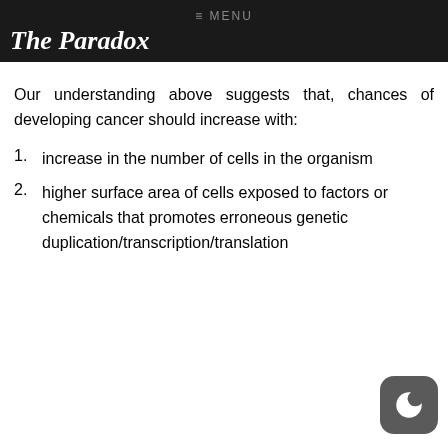≡ MENU
The Paradox
Our understanding above suggests that, chances of developing cancer should increase with:
increase in the number of cells in the organism
higher surface area of cells exposed to factors or chemicals that promotes erroneous genetic duplication/transcription/translation